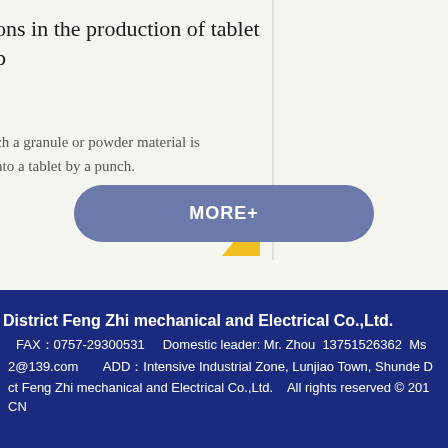ons in the production of tablet p
Dig y
ch a granule or powder material is nto a tablet by a punch.
Dig econ cach
MORE+
District Feng Zhi mechanical and Electrical Co.,Ltd. FAX：0757-29300531   Domestic leader: Mr. Zhou  13751526362  Ms 2@139.com   ADD：Intensive Industrial Zone, Lunjiao Town, Shunde D ct Feng Zhi mechanical and Electrical Co.,Ltd.   All rights reserved © 201 CN